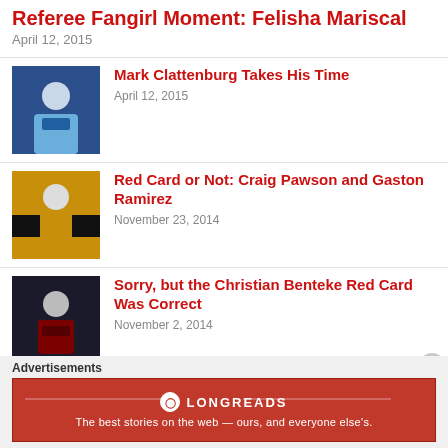Referee Fangirl Moment: Felisha Mariscal
April 12, 2015
[Figure (photo): Soccer player in light blue Man City jersey]
Mark Clattenburg Takes His Time
April 12, 2015
[Figure (photo): Soccer player in black and amber striped Hull City jersey]
Red Card or Not: Craig Pawson and Gaston Ramirez
November 23, 2014
[Figure (photo): Soccer player in claret Aston Villa jersey at night]
Sorry, but the Christian Benteke Red Card Was Correct
November 2, 2014
[Figure (photo): Partially visible article photo - dark image]
Did Mark Clattenburg Really Get
Advertisements
[Figure (infographic): Longreads advertisement banner: The best stories on the web — ours, and everyone else's.]